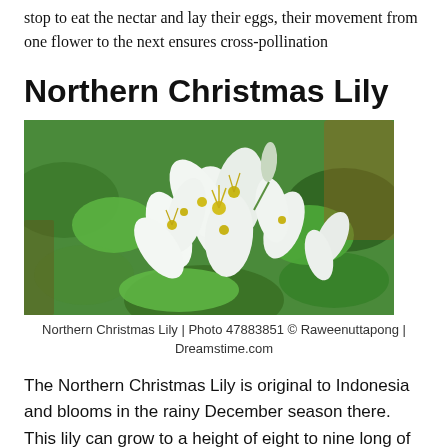stop to eat the nectar and lay their eggs, their movement from one flower to the next ensures cross-pollination
Northern Christmas Lily
[Figure (photo): Close-up photograph of white Northern Christmas Lily flowers with yellow centers against a green leafy background.]
Northern Christmas Lily | Photo 47883851 © Raweenuttapong | Dreamstime.com
The Northern Christmas Lily is original to Indonesia and blooms in the rainy December season there. This lily can grow to a height of eight to nine long of 45-79...